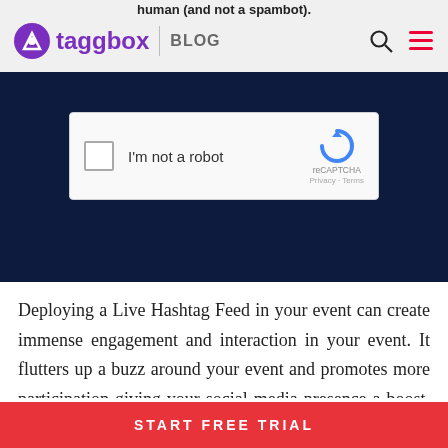human (and not a spambot). taggbox BLOG
[Figure (screenshot): reCAPTCHA widget on dark banner background showing a checkbox, 'I'm not a robot' text, reCAPTCHA logo, and 'Privacy · Terms' text]
Deploying a Live Hashtag Feed in your event can create immense engagement and interaction in your event. It flutters up a buzz around your event and promotes more participation giving your social media presence a boost. Your audience also gets an opportunity to share their experience with the entire
START FREE TRIAL